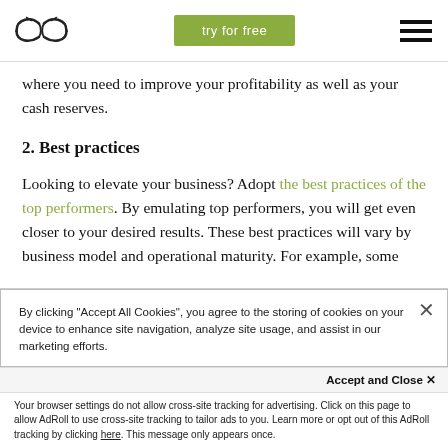try for free
where you need to improve your profitability as well as your cash reserves.
2. Best practices
Looking to elevate your business? Adopt the best practices of the top performers. By emulating top performers, you will get even closer to your desired results. These best practices will vary by business model and operational maturity. For example, some
By clicking “Accept All Cookies”, you agree to the storing of cookies on your device to enhance site navigation, analyze site usage, and assist in our marketing efforts.
Accept and Close ×
Your browser settings do not allow cross-site tracking for advertising. Click on this page to allow AdRoll to use cross-site tracking to tailor ads to you. Learn more or opt out of this AdRoll tracking by clicking here. This message only appears once.